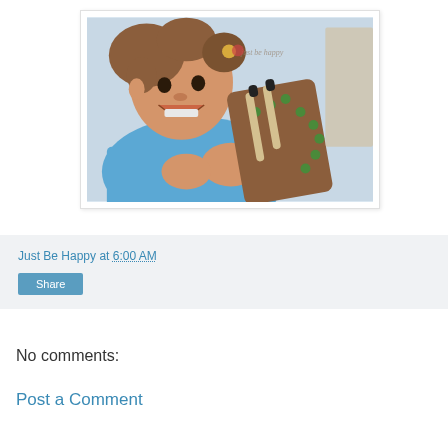[Figure (photo): A young child with curly hair wearing a blue shirt, smiling and holding a brown cardboard craft guitar-like instrument with green decorations and cardboard tube strings. A watermark reads 'just be happy' in the upper right.]
Just Be Happy at 6:00 AM
Share
No comments:
Post a Comment